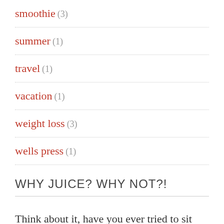smoothie (3)
summer (1)
travel (1)
vacation (1)
weight loss (3)
wells press (1)
WHY JUICE? WHY NOT?!
Think about it, have you ever tried to sit down and eat two apples, six carrots, two beets, a few handfuls of spinach and three stalks of celery in